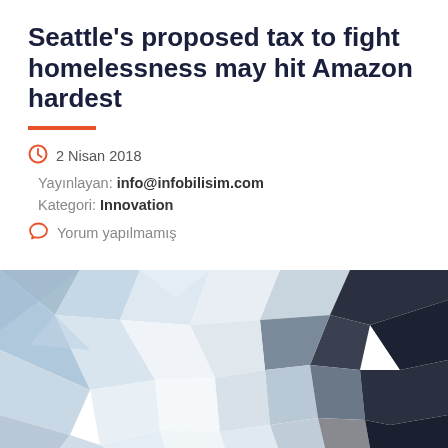Seattle's proposed tax to fight homelessness may hit Amazon hardest
2 Nisan 2018
Yayınlayan: info@infobilisim.com
Kategori: Innovation
Yorum yapılmamış
[Figure (illustration): Abstract low-poly geometric background image with blue, grey, white and dark polygonal shapes]